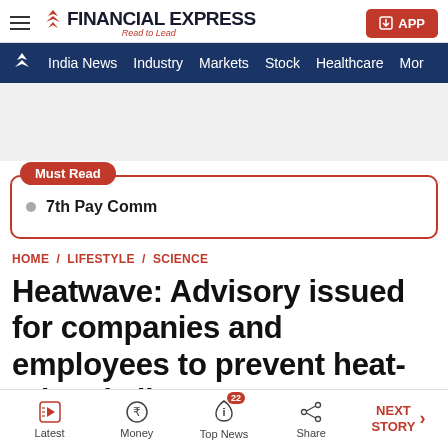FINANCIAL EXPRESS - Read to Lead
India News | Industry | Markets | Stock | Healthcare | More
Must Read
7th Pay Comm
HOME / LIFESTYLE / SCIENCE
Heatwave: Advisory issued for companies and employees to prevent heat-related ailments
Latest | Money | Top News 22 | Share | NEXT STORY